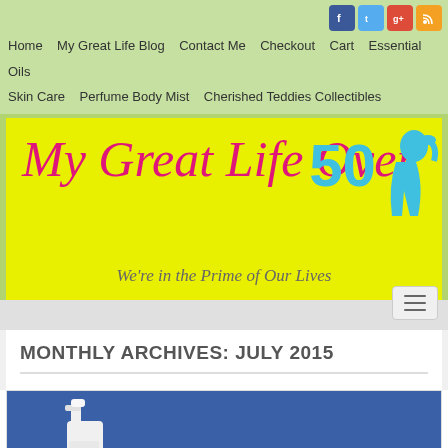Home  My Great Life Blog  Contact Me  Checkout  Cart  Essential Oils  Skin Care  Perfume Body Mist  Cherished Teddies Collectibles
[Figure (logo): My Great Life Over 50 blog banner with yellow background, pink cursive title text, blue 50 with silhouette, tagline: We're in the Prime of Our Lives]
MONTHLY ARCHIVES: JULY 2015
[Figure (photo): Photo of a white spray bottle against a blue background]